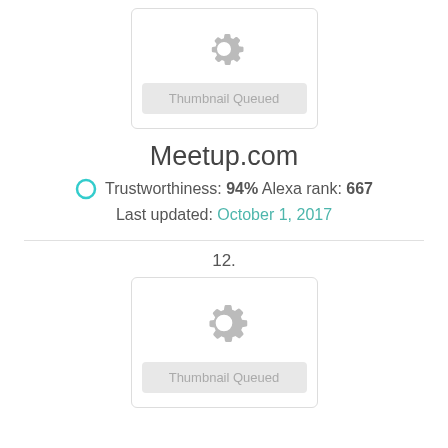[Figure (screenshot): Thumbnail Queued placeholder with gear icon in a rounded rectangle card]
Meetup.com
Trustworthiness: 94% Alexa rank: 667
Last updated: October 1, 2017
12.
[Figure (screenshot): Thumbnail Queued placeholder with gear icon in a rounded rectangle card]